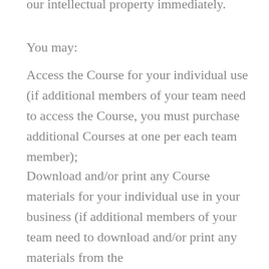our intellectual property immediately.
You may:
Access the Course for your individual use (if additional members of your team need to access the Course, you must purchase additional Courses at one per each team member);
Download and/or print any Course materials for your individual use in your business (if additional members of your team need to download and/or print any materials from the